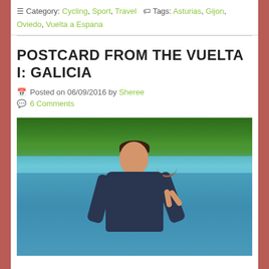Category: Cycling, Sport, Travel   Tags: Asturias, Gijon, Oviedo, Vuelta a Espana
POSTCARD FROM THE VUELTA I: GALICIA
Posted on 06/09/2016 by Sheree
6 Comments
[Figure (photo): A cyclist or person in a dark jersey standing by a lake or river, smiling and making a peace sign with their hand. Green trees are visible in the background, and the scene appears to be outdoors near water.]